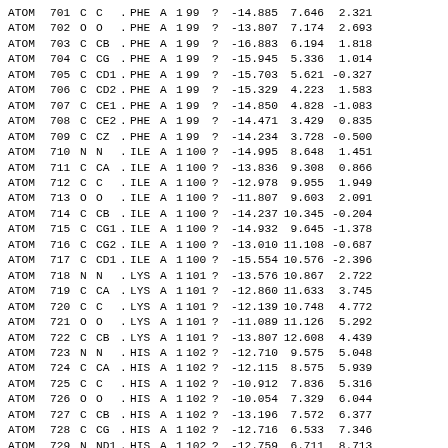| type | serial | el | name | alt | res | chain | model | seq | ins | ? | x | y | z |
| --- | --- | --- | --- | --- | --- | --- | --- | --- | --- | --- | --- | --- | --- |
| ATOM | 701 | C | C | . | PHE | A | 1 | 99 | ? | -14.885 | 7.646 | 2.321 |
| ATOM | 702 | O | O | . | PHE | A | 1 | 99 | ? | -13.807 | 7.174 | 2.693 |
| ATOM | 703 | C | CB | . | PHE | A | 1 | 99 | ? | -16.883 | 6.194 | 1.818 |
| ATOM | 704 | C | CG | . | PHE | A | 1 | 99 | ? | -15.945 | 5.336 | 1.014 |
| ATOM | 705 | C | CD1 | . | PHE | A | 1 | 99 | ? | -15.703 | 5.621 | -0.327 |
| ATOM | 706 | C | CD2 | . | PHE | A | 1 | 99 | ? | -15.329 | 4.223 | 1.583 |
| ATOM | 707 | C | CE1 | . | PHE | A | 1 | 99 | ? | -14.850 | 4.828 | -1.083 |
| ATOM | 708 | C | CE2 | . | PHE | A | 1 | 99 | ? | -14.471 | 3.429 | 0.835 |
| ATOM | 709 | C | CZ | . | PHE | A | 1 | 99 | ? | -14.234 | 3.728 | -0.500 |
| ATOM | 710 | N | N | . | ILE | A | 1 | 100 | ? | -14.995 | 8.648 | 1.451 |
| ATOM | 711 | C | CA | . | ILE | A | 1 | 100 | ? | -13.836 | 9.308 | 0.866 |
| ATOM | 712 | C | C | . | ILE | A | 1 | 100 | ? | -12.978 | 9.955 | 1.949 |
| ATOM | 713 | O | O | . | ILE | A | 1 | 100 | ? | -11.807 | 9.603 | 2.091 |
| ATOM | 714 | C | CB | . | ILE | A | 1 | 100 | ? | -14.237 | 10.345 | -0.204 |
| ATOM | 715 | C | CG1 | . | ILE | A | 1 | 100 | ? | -14.932 | 9.645 | -1.378 |
| ATOM | 716 | C | CG2 | . | ILE | A | 1 | 100 | ? | -13.010 | 11.108 | -0.687 |
| ATOM | 717 | C | CD1 | . | ILE | A | 1 | 100 | ? | -15.554 | 10.576 | -2.396 |
| ATOM | 718 | N | N | . | LYS | A | 1 | 101 | ? | -13.576 | 10.867 | 2.722 |
| ATOM | 719 | C | CA | . | LYS | A | 1 | 101 | ? | -12.860 | 11.633 | 3.745 |
| ATOM | 720 | C | C | . | LYS | A | 1 | 101 | ? | -12.139 | 10.748 | 4.772 |
| ATOM | 721 | O | O | . | LYS | A | 1 | 101 | ? | -11.089 | 11.126 | 5.292 |
| ATOM | 722 | C | CB | . | LYS | A | 1 | 101 | ? | -13.807 | 12.608 | 4.439 |
| ATOM | 723 | N | N | . | HIS | A | 1 | 102 | ? | -12.710 | 9.575 | 5.048 |
| ATOM | 724 | C | CA | . | HIS | A | 1 | 102 | ? | -12.115 | 8.575 | 5.939 |
| ATOM | 725 | C | C | . | HIS | A | 1 | 102 | ? | -10.912 | 7.836 | 5.316 |
| ATOM | 726 | O | O | . | HIS | A | 1 | 102 | ? | -10.054 | 7.329 | 6.044 |
| ATOM | 727 | C | CB | . | HIS | A | 1 | 102 | ? | -13.196 | 7.572 | 6.377 |
| ATOM | 728 | C | CG | . | HIS | A | 1 | 102 | ? | -12.716 | 6.533 | 7.346 |
| ATOM | 729 | N | ND1 | . | HIS | A | 1 | 102 | ? | -12.759 | 6.711 | 8.713 |
| ATOM | 730 | C | CD2 | . | HIS | A | 1 | 102 | ? | -12.192 | 5.300 | 7.146 |